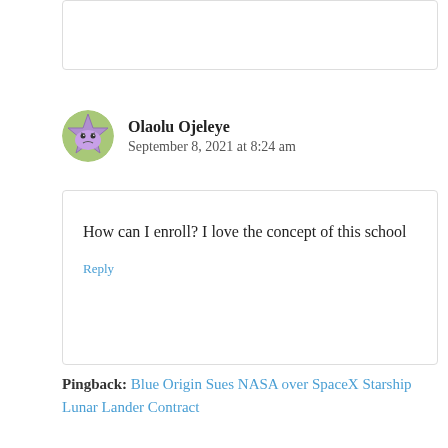Reply
Olaolu Ojeleye
September 8, 2021 at 8:24 am
How can I enroll? I love the concept of this school
Reply
Pingback: Blue Origin Sues NASA over SpaceX Starship Lunar Lander Contract